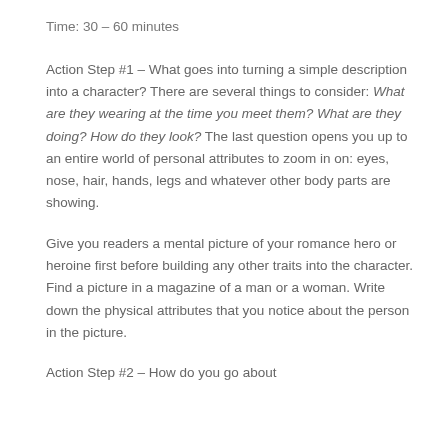Time: 30 – 60 minutes
Action Step #1 – What goes into turning a simple description into a character? There are several things to consider: What are they wearing at the time you meet them? What are they doing? How do they look? The last question opens you up to an entire world of personal attributes to zoom in on: eyes, nose, hair, hands, legs and whatever other body parts are showing.
Give you readers a mental picture of your romance hero or heroine first before building any other traits into the character. Find a picture in a magazine of a man or a woman. Write down the physical attributes that you notice about the person in the picture.
Action Step #2 – How do you go about...